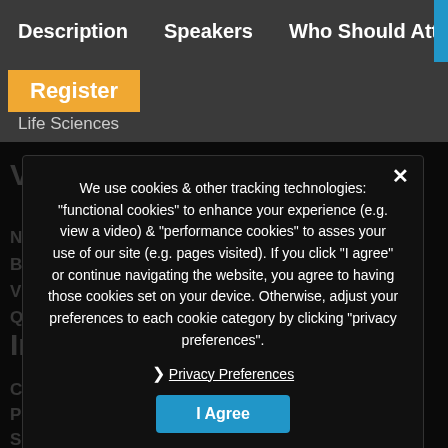Description   Speakers   Who Should Attend?
Register
Life Sciences
Vitals
News
Blogs
Videos
Quizzes & Polls
Industry Jobs
Career Insights Blogs
Post a Job
Search Jobs
We use cookies & other tracking technologies: "functional cookies" to enhance your experience (e.g. view a video) & "performance cookies" to asses your use of our site (e.g. pages visited). If you click "I agree" or continue navigating the website, you agree to having those cookies set on your device. Otherwise, adjust your preferences to each cookie category by clicking "privacy preferences".
❯ Privacy Preferences
I Agree